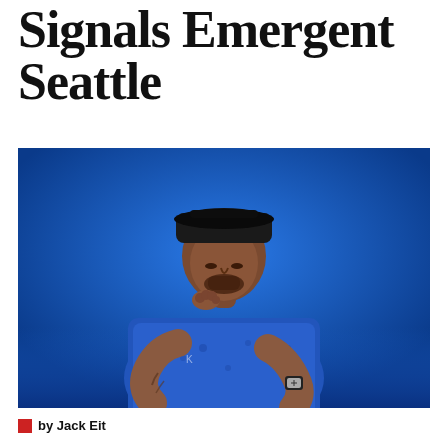Signals Emergent Seattle
[Figure (photo): A man in a blue patterned short-sleeve shirt and backward black cap, wearing a gold chain necklace and a watch, with tattoos on his forearms, posed thoughtfully with hand near chin against a vivid blue background.]
by Jack Eit